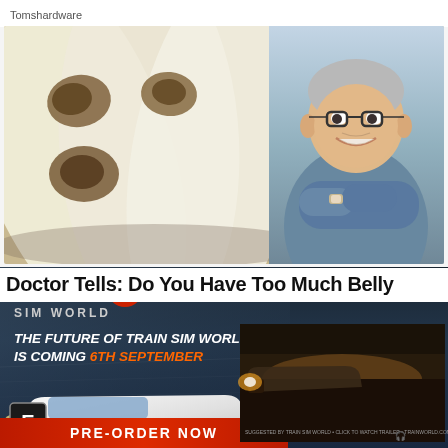Tomshardware
[Figure (photo): Close-up photo of flat breads with brown spice sprinkled on them on a plate, with a smiling older man with gray hair and glasses in scrubs with arms crossed on the right side]
Doctor Tells: Do You Have Too Much Belly
[Figure (screenshot): Advertisement for Train Sim World 3 video game. Shows logo 'TRAIN 3 SIM WORLD', text 'THE FUTURE OF TRAIN SIM WORLD IS COMING 6TH SEPTEMBER', a white high-speed train on the left, an ESRB E rating badge, a 'PRE-ORDER NOW' red banner, and a dark video thumbnail on the right showing a train at dusk with Trainworld logo.]